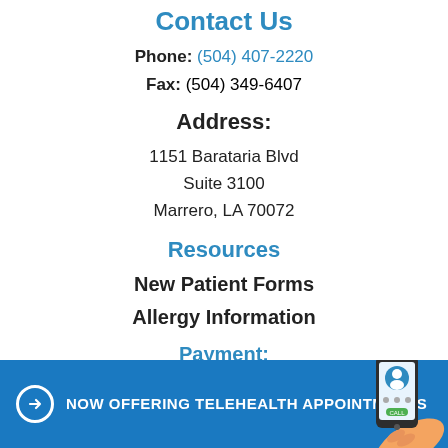Contact Us
Phone: (504) 407-2220
Fax: (504) 349-6407
Address:
1151 Barataria Blvd
Suite 3100
Marrero, LA 70072
Resources
New Patient Forms
Allergy Information
Payment:
NOW OFFERING TELEHEALTH APPOINTMENTS